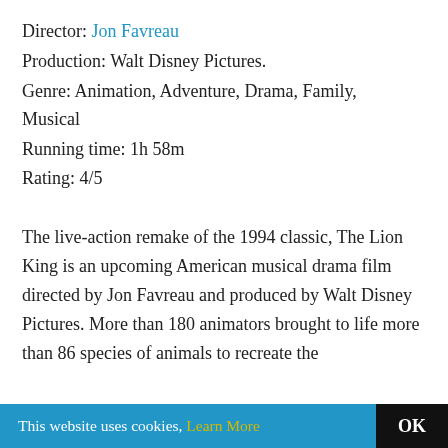Director: Jon Favreau
Production: Walt Disney Pictures.
Genre: Animation, Adventure, Drama, Family, Musical
Running time: 1h 58m
Rating: 4/5
The live-action remake of the 1994 classic, The Lion King is an upcoming American musical drama film directed by Jon Favreau and produced by Walt Disney Pictures. More than 180 animators brought to life more than 86 species of animals to recreate the
This website uses cookies, Learn More OK